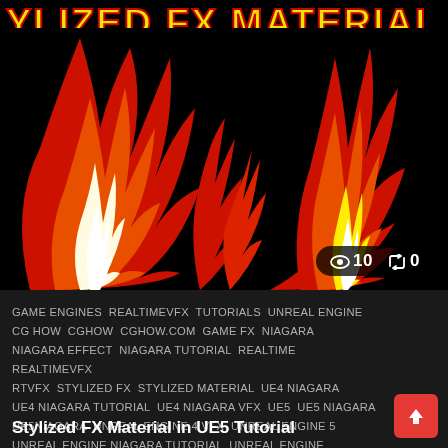[Figure (screenshot): Thumbnail showing stylized fire/flame VFX effects on black background with two large flame bursts in red, orange, yellow and white. Yellow bold text partially visible at top reading 'ylized FX Material in C'. Stats pill showing eye icon '10' and retweet icon '0' in bottom right corner.]
GAME ENGINES  REALTIMEVFX  TUTORIALS  UNREAL ENGINE  CG HOW  CGHOW  CGHOW.COM  GAME FX  NIAGARA  NIAGARA EFFECT  NIAGARA TUTORIAL  REALTIME  REALTIMEVFX  RTVFX  STYLIZED FX  STYLIZED MATERIAL  UE4 NIAGARA  UE4 NIAGARA TUTORIAL  UE4 NIAGARA VFX  UE5  UE5 NIAGARA  UE5NIAGARA  UNREAL ENGINE 4 VFX  UNREAL ENGINE 5  UNREAL ENGINE NIAGARA TUTORIAL  UNREAL ENGINE TUTORIAL  UNREAL ENGINE VFX TUTORIAL
Stylized FX Material in UE5 Tutorial